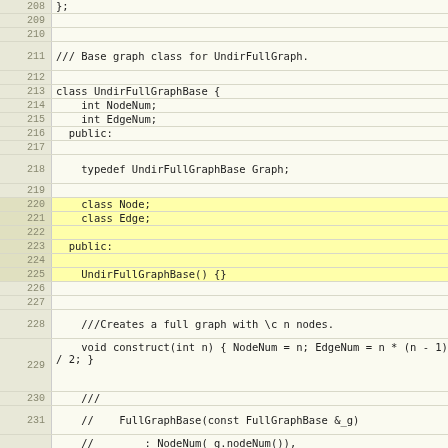[Figure (screenshot): Code listing showing C++ class UndirFullGraphBase definition, lines 208-233, with line numbers on left and code on right in monospace font on a light background.]